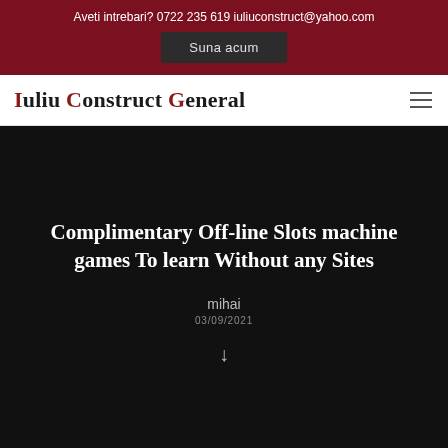Aveti intrebari? 0722 235 619 iuliuconstruct@yahoo.com
Suna acum
Iuliu Construct General
Complimentary Off-line Slots machine games To learn Without any Sites
mihai
03/09/2021